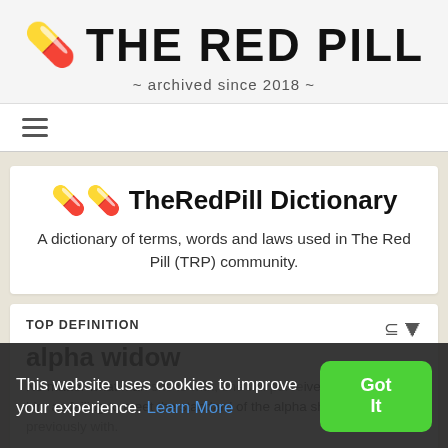THE RED PILL ~ archived since 2018 ~
[Figure (screenshot): Hamburger menu icon (three horizontal lines)]
💊💊 TheRedPill Dictionary
A dictionary of terms, words and laws used in The Red Pill (TRP) community.
TOP DEFINITION
alpha widow
No matter what man she is with, she will perceive him as failing to meet the standard of the alpha she was previously with.
This website uses cookies to improve your experience. Learn More